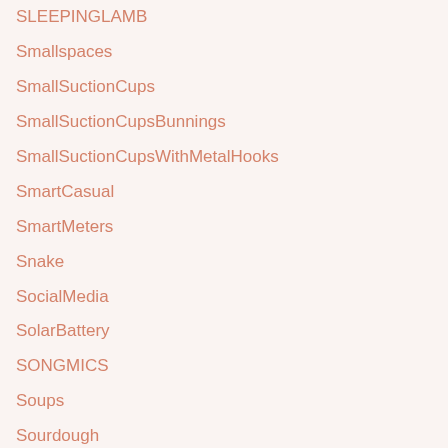SLEEPINGLAMB
Smallspaces
SmallSuctionCups
SmallSuctionCupsBunnings
SmallSuctionCupsWithMetalHooks
SmartCasual
SmartMeters
Snake
SocialMedia
SolarBattery
SONGMICS
Soups
Sourdough
Sparco
Sponsor